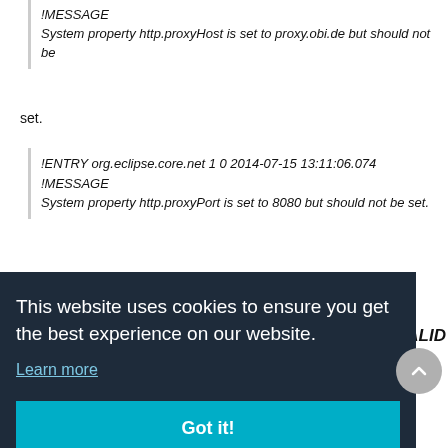!MESSAGE
System property http.proxyHost is set to proxy.obi.de but should not be
set.
!ENTRY org.eclipse.core.net 1 0 2014-07-15 13:11:06.074
!MESSAGE
System property http.proxyPort is set to 8080 but should not be set.
[Figure (screenshot): Cookie consent overlay with dark background (#1e2b3a), white text 'This website uses cookies to ensure you get the best experience on our website.', 'Learn more' link, and teal 'Got it!' button]
VALID
RESID_MSG_GENERICTEXT_NOTVALID_DETAILS in: